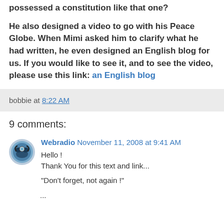possessed a constitution like that one?
He also designed a video to go with his Peace Globe. When Mimi asked him to clarify what he had written, he even designed an English blog for us. If you would like to see it, and to see the video, please use this link: an English blog
bobbie at 8:22 AM
9 comments:
Webradio November 11, 2008 at 9:41 AM
Hello !
Thank You for this text and link...

"Don't forget, not again !"
...